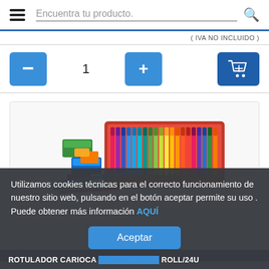Encuentra tu producto.
( IVA NO INCLUIDO )
[Figure (screenshot): Quantity selector with minus button, value 1, plus button, and shopping cart button]
[Figure (photo): Photo of Carioca marker/pen sets in colorful packaging, shown in a product display tray]
Utilizamos cookies técnicas para el correcto funcionamiento de nuestro sitio web, pulsando en el botón aceptar permite su uso . Puede obtener más información AQUÍ
Aceptar
ROTULADOR CARIOCA BIRELLO ROLL/24U